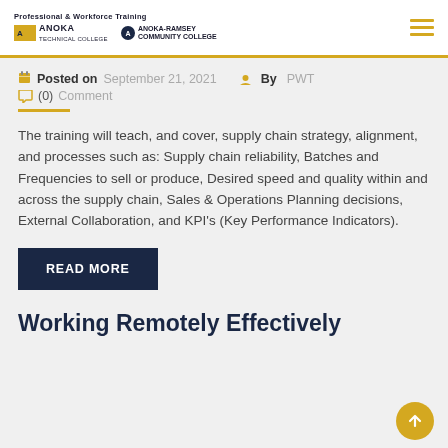Professional & Workforce Training | Anoka Technical College | Anoka-Ramsey Community College
Posted on September 21, 2021  By PWT  (0) Comment
The training will teach, and cover, supply chain strategy, alignment, and processes such as: Supply chain reliability, Batches and Frequencies to sell or produce, Desired speed and quality within and across the supply chain, Sales & Operations Planning decisions, External Collaboration, and KPI's (Key Performance Indicators).
READ MORE
Working Remotely Effectively